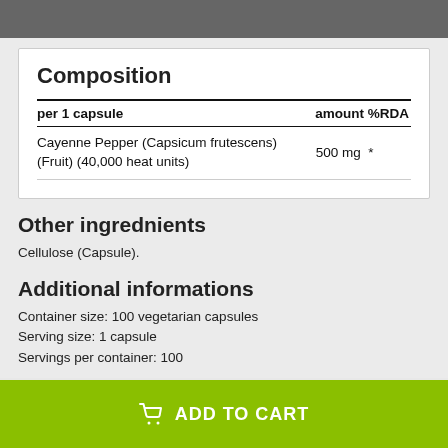Composition
| per 1 capsule | amount %RDA |
| --- | --- |
| Cayenne Pepper (Capsicum frutescens) (Fruit) (40,000 heat units) | 500 mg * |
Other ingrednients
Cellulose (Capsule).
Additional informations
Container size: 100 vegetarian capsules
Serving size: 1 capsule
Servings per container: 100
ADD TO CART